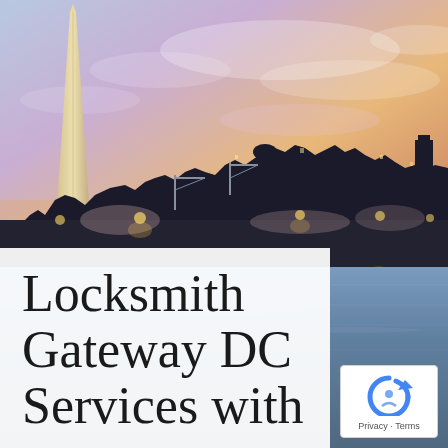[Figure (photo): Washington DC skyline at dusk with Washington Monument on the left, city buildings silhouetted against a colorful purple-orange sunset sky, reflected in the calm Tidal Basin water in the foreground.]
Locksmith Gateway DC Services with
[Figure (logo): reCAPTCHA logo badge with blue circular arrow icon, showing Privacy and Terms links at the bottom.]